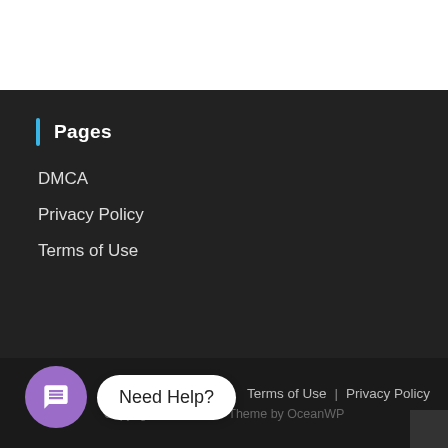Pages
DMCA
Privacy Policy
Terms of Use
Terms of Use | Privacy Policy
Copyright - OceanWP Theme by OceanWP